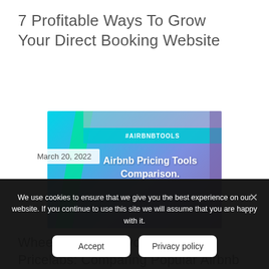7 Profitable Ways To Grow Your Direct Booking Website
[Figure (screenshot): Screenshot showing Airbnb Pricing Tools Comparison article header with teal banner reading #AIRBNBTOOLS and overlay title text on a blue-purple gradient background]
March 20, 2022
Wheelhouse v. Beyond Pricing v. Pricelabs: Comparing Popular Airbnb
We use cookies to ensure that we give you the best experience on our website. If you continue to use this site we will assume that you are happy with it.